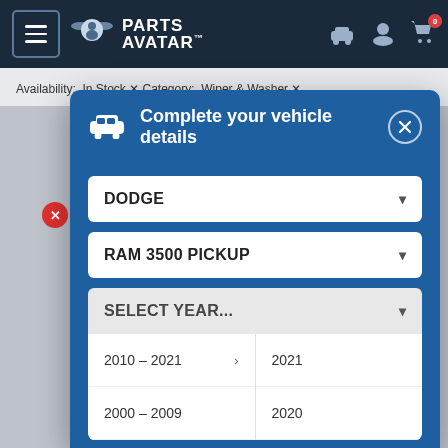[Figure (screenshot): Parts Avatar website navigation bar with hamburger menu, logo, car icon, user icon, and cart icon with badge showing 0]
Availability: In Stock × Category: Wiper & Washer ×
[Figure (screenshot): Modal dialog titled 'Complete your vehicle details' with dropdowns for DODGE, RAM 3500 PICKUP, SELECT YEAR... and a year picker showing ranges 2010-2021 and 2000-2009, with years 2021 and 2020 on the right]